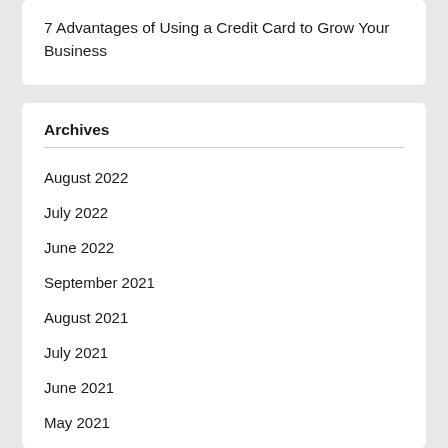7 Advantages of Using a Credit Card to Grow Your Business
Archives
August 2022
July 2022
June 2022
September 2021
August 2021
July 2021
June 2021
May 2021